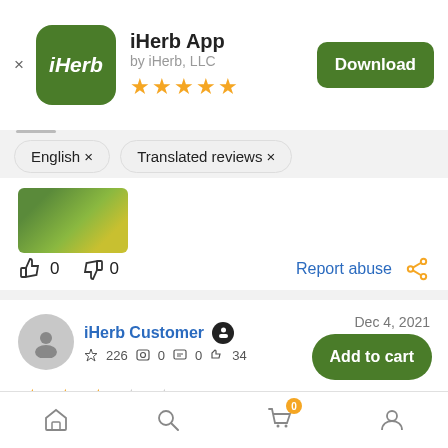iHerb App by iHerb, LLC — Download
English × Translated reviews ×
[Figure (photo): Partial product image (green container)]
👍 0  👎 0   Report abuse  🔗
iHerb Customer  ⭐ 226  📷 0  💬 0  👍 34   Dec 4, 2021
★★★☆☆  Add to cart
🏠  🔍  🛒(0)  👤